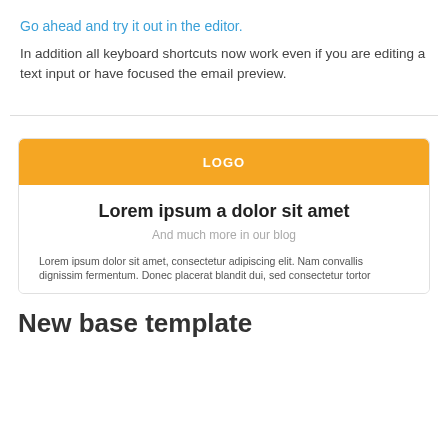Go ahead and try it out in the editor.
In addition all keyboard shortcuts now work even if you are editing a text input or have focused the email preview.
[Figure (screenshot): Email template preview showing an orange LOGO banner at top, followed by a white content area with bold heading 'Lorem ipsum a dolor sit amet', subtitle 'And much more in our blog', and partial body text beginning 'Lorem ipsum dolor sit amet, consectetur adipiscing elit. Nam convallis dignissim fermentum. Donec placerat blandit dui, sed consectetur tortor']
New base template